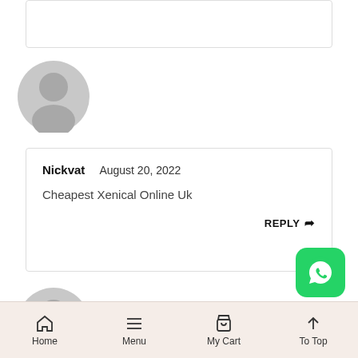[Figure (illustration): Partial bottom of a comment card with border]
[Figure (illustration): Gray default user avatar circle icon]
Nickvat   August 20, 2022
Cheapest Xenical Online Uk
REPLY
[Figure (illustration): Gray default user avatar circle icon, second]
[Figure (logo): WhatsApp green rounded square button icon]
Home   Menu   My Cart   To Top